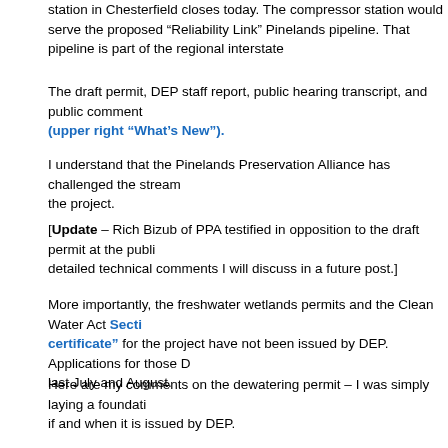station in Chesterfield closes today. The compressor station would serve the proposed "Reliability Link" Pinelands pipeline. That pipeline is part of the regional interstate
The draft permit, DEP staff report, public hearing transcript, and public comment (upper right "What's New").
I understand that the Pinelands Preservation Alliance has challenged the stream crossing permit for the project.
[Update – Rich Bizub of PPA testified in opposition to the draft permit at the public hearing and submitted detailed technical comments I will discuss in a future post.]
More importantly, the freshwater wetlands permits and the Clean Water Act Section 401 "water quality certificate" for the project have not been issued by DEP. Applications for those DEP permits were filed last July and August.
Here are my comments on the dewatering permit – I was simply laying a foundation for later challenges if and when it is issued by DEP.
Dear DEP:
I hereby incorporate the full public hearing transcript:
http://www.nj.gov/dep/watersupply/pdf/1322d-hearing-transcript.pdf
In addition to my comments at the April 26, 2016 public hearing, I would like to add
1. The applicant has not demonstrated that the project is in the public interest. The applicant has not met his regulatory burden under applicable laws and DEP
2. The basis for the Department's determination that the project is in the public